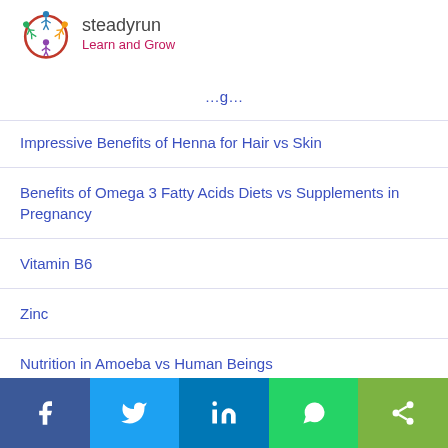[Figure (logo): Steadyrun logo with colorful figures and text 'steadyrun Learn and Grow']
…g… (partial link, cut off at top)
Impressive Benefits of Henna for Hair vs Skin
Benefits of Omega 3 Fatty Acids Diets vs Supplements in Pregnancy
Vitamin B6
Zinc
Nutrition in Amoeba vs Human Beings
Vitamins vs Minerals
Social share bar: Facebook, Twitter, LinkedIn, WhatsApp, Share